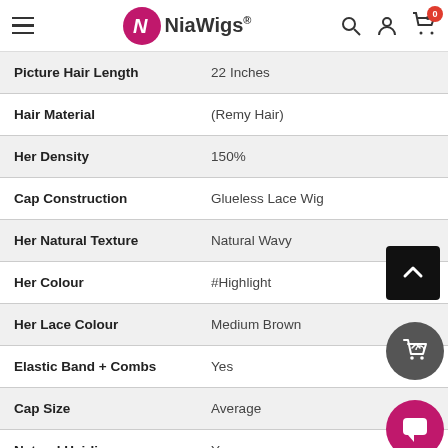NiaWigs® navigation header
| Attribute | Value |
| --- | --- |
| Picture Hair Length | 22 Inches |
| Hair Material | (Remy Hair) |
| Her Density | 150% |
| Cap Construction | Glueless Lace Wig |
| Her Natural Texture | Natural Wavy |
| Her Colour | #Highlight |
| Her Lace Colour | Medium Brown |
| Elastic Band + Combs | Yes |
| Cap Size | Average |
| Natural Hairline | Yes |